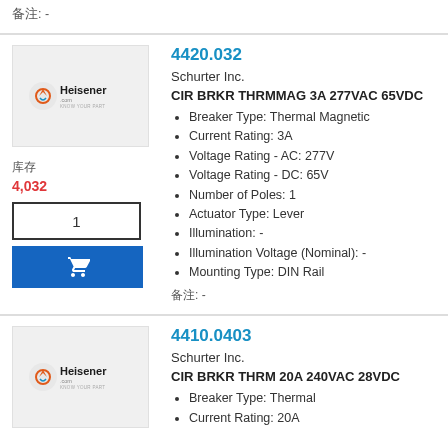备注: -
4420.032
Schurter Inc.
CIR BRKR THRMMAG 3A 277VAC 65VDC
Breaker Type: Thermal Magnetic
Current Rating: 3A
Voltage Rating - AC: 277V
Voltage Rating - DC: 65V
Number of Poles: 1
Actuator Type: Lever
Illumination: -
Illumination Voltage (Nominal): -
Mounting Type: DIN Rail
备注: -
4410.0403
Schurter Inc.
CIR BRKR THRM 20A 240VAC 28VDC
Breaker Type: Thermal
Current Rating: 20A